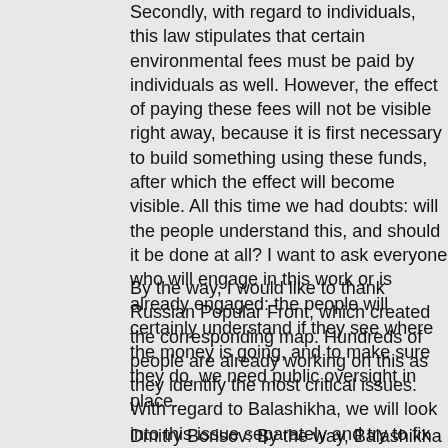Secondly, with regard to individuals, this law stipulates that certain environmental fees must be paid by individuals as well. However, the effect of paying these fees will not be visible right away, because it is first necessary to build something using these funds, after which the effect will become visible. All this time we had doubts: will the people understand this, and should it be done at all? I want to ask everyone who will engage in this work or is already engaged: the people will certainly understand if they see where the money is going, and to make sure they do, we need public oversight in place.
By the way, I would like to thank Russian Popular Front, which created the corresponding map. Hundreds of people are already working on this as they identify the most critical issues. With regard to Balashikha, we will look into this issue separately and try to fix it. I can understand perfectly the critical importance of this problem. It has been building up over decades. We will try to fix it as soon as possible.
Dmitry Borisov: By the way, Balashikha is one of the places I was